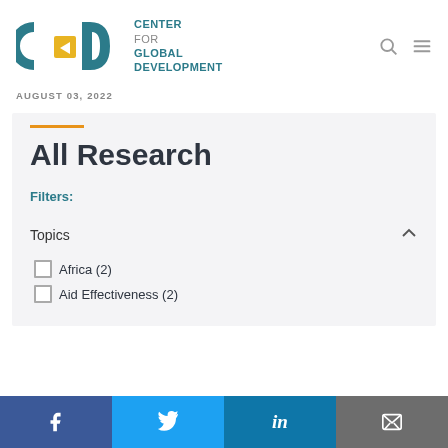[Figure (logo): Center for Global Development (CGD) logo with teal C, yellow arrow G, teal D letters and text 'CENTER FOR GLOBAL DEVELOPMENT']
AUGUST 03, 2022
All Research
Filters:
Topics
Africa (2)
Aid Effectiveness (2)